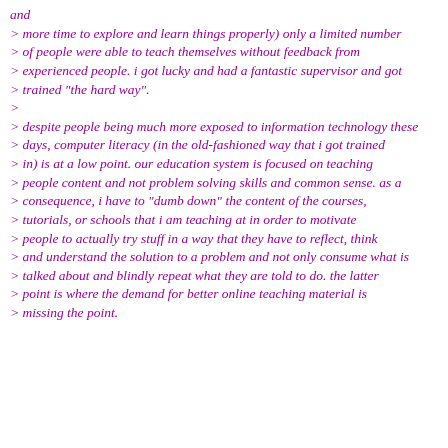and
> more time to explore and learn things properly) only a limited number
> of people were able to teach themselves without feedback from
> experienced people. i got lucky and had a fantastic supervisor and got
> trained "the hard way".
>
> despite people being much more exposed to information technology these
> days, computer literacy (in the old-fashioned way that i got trained
> in) is at a low point. our education system is focused on teaching
> people content and not problem solving skills and common sense. as a
> consequence, i have to "dumb down" the content of the courses,
> tutorials, or schools that i am teaching at in order to motivate
> people to actually try stuff in a way that they have to reflect, think
> and understand the solution to a problem and not only consume what is
> talked about and blindly repeat what they are told to do. the latter
> point is where the demand for better online teaching material is
> missing the point.